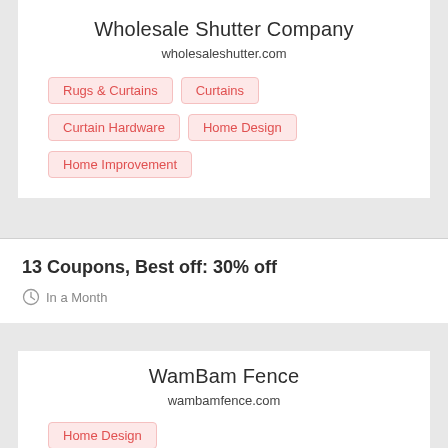Wholesale Shutter Company
wholesaleshutter.com
Rugs & Curtains
Curtains
Curtain Hardware
Home Design
Home Improvement
13 Coupons,  Best off: 30% off
In a Month
WamBam Fence
wambamfence.com
Home Design
Home Improvement